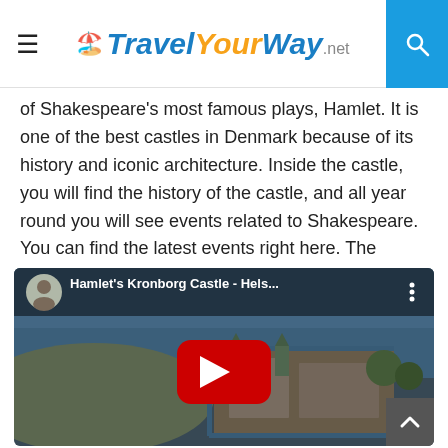Travel Your Way .net
of Shakespeare's most famous plays, Hamlet. It is one of the best castles in Denmark because of its history and iconic architecture. Inside the castle, you will find the history of the castle, and all year round you will see events related to Shakespeare. You can find the latest events right here. The entrance fee to the castle starts at 115 DKK per adult. You can find more information about the bookings right here.
[Figure (screenshot): YouTube video embed showing aerial view of Hamlet's Kronborg Castle in Helsingør, Denmark, with a play button overlay. Video title: Hamlet's Kronborg Castle - Hels...]